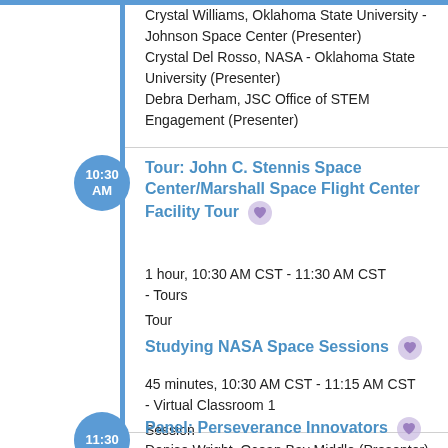Crystal Williams, Oklahoma State University - Johnson Space Center (Presenter)
Crystal Del Rosso, NASA - Oklahoma State University (Presenter)
Debra Derham, JSC Office of STEM Engagement (Presenter)
10:30 AM
Tour: John C. Stennis Space Center/Marshall Space Flight Center Facility Tour
1 hour, 10:30 AM CST - 11:30 AM CST
- Tours
Tour
Studying NASA Space Sessions
45 minutes, 10:30 AM CST - 11:15 AM CST
- Virtual Classroom 1
Session
Denise Wright, Ocean Bay Middle (Presenter)
11:30
Panel: Perseverance Innovators